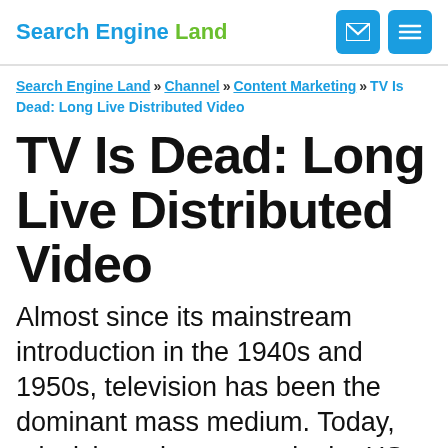Search Engine Land
Search Engine Land » Channel » Content Marketing » TV Is Dead: Long Live Distributed Video
TV Is Dead: Long Live Distributed Video
Almost since its mainstream introduction in the 1940s and 1950s, television has been the dominant mass medium. Today, television ad revenues in the US are estimated to be between $60 and $70